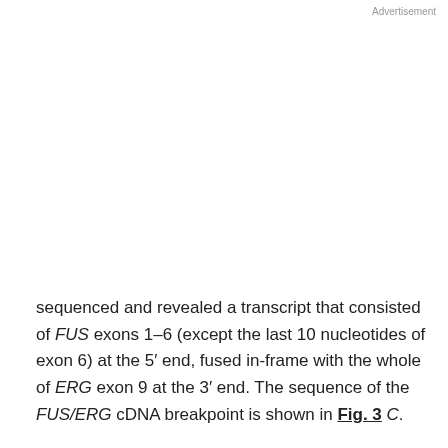Advertisement
sequenced and revealed a transcript that consisted of FUS exons 1–6 (except the last 10 nucleotides of exon 6) at the 5′ end, fused in-frame with the whole of ERG exon 9 at the 3′ end. The sequence of the FUS/ERG cDNA breakpoint is shown in Fig. 3 C.
Mapping of the gDNA FUS/ERG Breakpoint.
gDNA of ET-1a and ET-1b was amplified by long-range
This site uses cookies. By continuing to use our website, you are agreeing to our privacy policy. Accept
FUS exon 1 and ERG11 in ERG exon 9 (Fig. 3 A). A genomic FUS/ERG product of 7–8 kb was seen in both